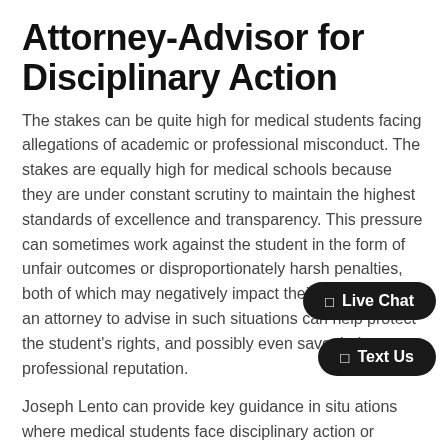Attorney-Advisor for Disciplinary Action
The stakes can be quite high for medical students facing allegations of academic or professional misconduct. The stakes are equally high for medical schools because they are under constant scrutiny to maintain the highest standards of excellence and transparency. This pressure can sometimes work against the student in the form of unfair outcomes or disproportionately harsh penalties, both of which may negatively impact their career. Hiring an attorney to advise in such situations can help protect the student's rights, and possibly even save their professional reputation.
Joseph Lento can provide key guidance in situations where medical students face disciplinary action or expulsion. Contact the Lento Law Firm at (888) 535-3686 today for more information on how we can help.